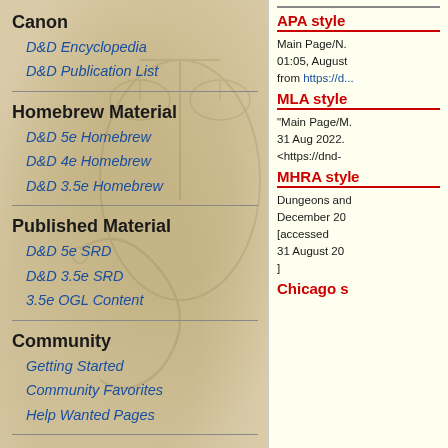Canon
D&D Encyclopedia
D&D Publication List
Homebrew Material
D&D 5e Homebrew
D&D 4e Homebrew
D&D 3.5e Homebrew
Published Material
D&D 5e SRD
D&D 3.5e SRD
3.5e OGL Content
Community
Getting Started
Community Favorites
Help Wanted Pages
Tools
APA style
Main Page/N. 01:05, August from https://d...
MLA style
"Main Page/M. 31 Aug 2022. <https://dnd-...
MHRA style
Dungeons and December 2[accessed 31 August 20]
Chicago s